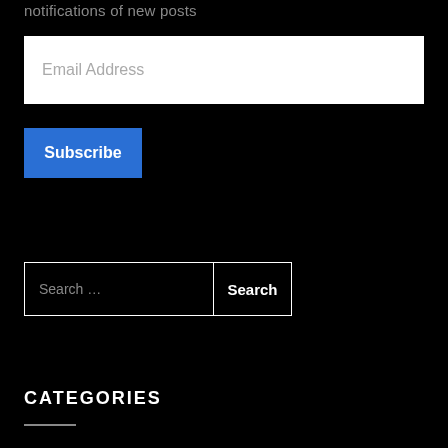notifications of new posts
Email Address
Subscribe
Search ...
Search
CATEGORIES